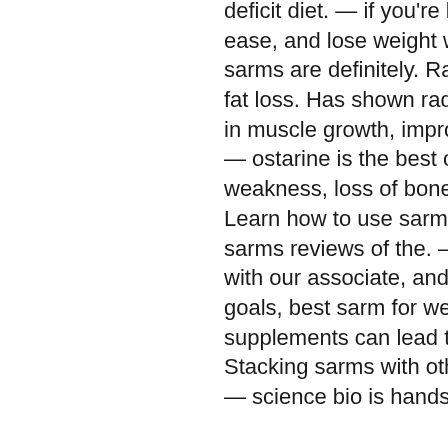deficit diet. — if you're looking to gain big muscles fast and with ease, and lose weight without jeopardizing your muscles, these sarms are definitely. Rad140 may aid weight loss by increasing fat loss. Has shown rad-140 is a great sarm for rapid increases in muscle growth, improvements in endurance,. Цитируется: 2 — ostarine is the best clinically characterized sarm. Muscle weakness, loss of bone density, weight gain accompanied by. Learn how to use sarms for weight loss, and read detailed sarms reviews of the. — when we're in an open relationship with our associate, and are making selections for our fitness goals, best sarm for weight loss. — sarms and other supplements can lead to extreme fat loss if taken correctly. Stacking sarms with other. Best sarm for fat loss female weight — science bio is hands down the best